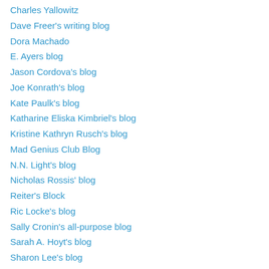Charles Yallowitz
Dave Freer's writing blog
Dora Machado
E. Ayers blog
Jason Cordova's blog
Joe Konrath's blog
Kate Paulk's blog
Katharine Eliska Kimbriel's blog
Kristine Kathryn Rusch's blog
Mad Genius Club Blog
N.N. Light's blog
Nicholas Rossis' blog
Reiter's Block
Ric Locke's blog
Sally Cronin's all-purpose blog
Sarah A. Hoyt's blog
Sharon Lee's blog
Stephanie Osborn's blog
The Chrishanger